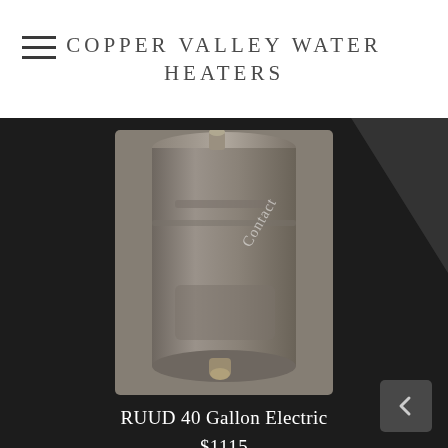COPPER VALLEY WATER HEATERS
[Figure (photo): RUUD 40 gallon electric water heater product photo against dark background with decorative diagonal band overlay and 'Contact' watermark text]
RUUD 40 Gallon Electric
$1115
[Figure (photo): Partially visible second water heater product photo at bottom of page]